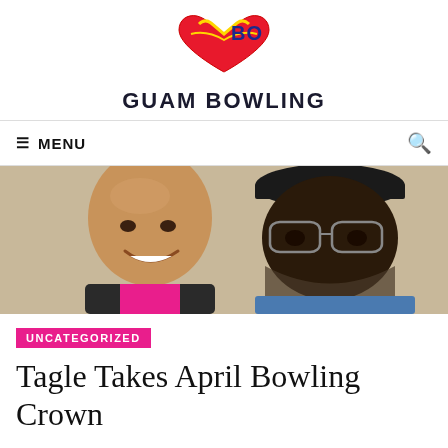[Figure (logo): Guam Bowling logo — heart shape with Philippine/Guam flag colors and 'BO' letters in blue]
GUAM BOWLING
MENU
[Figure (photo): Two men posing for a photo indoors. Left: bald Asian man smiling in pink shirt. Right: older Black man in blue shirt wearing a cap and glasses.]
UNCATEGORIZED
Tagle Takes April Bowling Crown